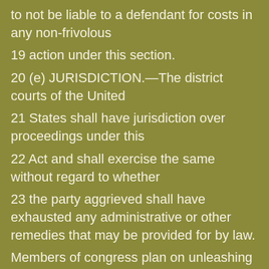to not be liable to a defendant for costs in any non-frivolous
19 action under this section.
20 (e) JURISDICTION.—The district courts of the United
21 States shall have jurisdiction over proceedings under this
22 Act and shall exercise the same without regard to whether
23 the party aggrieved shall have exhausted any administrative or other remedies that may be provided for by law.
Members of congress plan on unleashing their army of fellow satanists on a series of attacks on every medial organization and member who displays a shred of morals. Their satanic creed dictates, they eliminate anyone who disagrees with their agenda.
In a time when the government and media is it onfacing a bold high a bold i